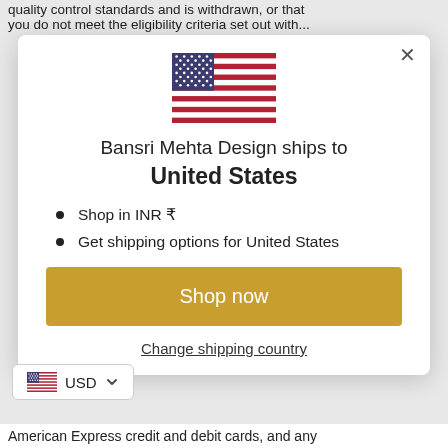quality control standards and is withdrawn, or that you do not meet the eligibility criteria set out with...
[Figure (illustration): United States flag emoji/icon, rectangular with red and white stripes and blue canton with white stars]
Bansri Mehta Design ships to United States
Shop in INR ₹
Get shipping options for United States
Shop now
Change shipping country
USD
American Express credit and debit cards, and any